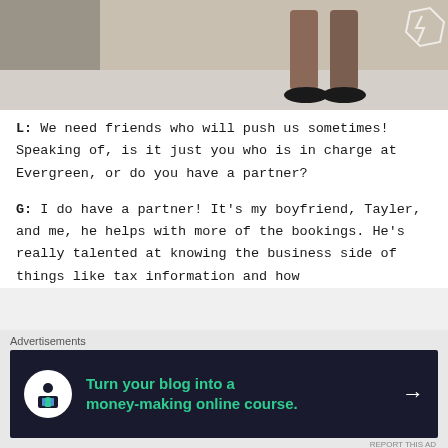[Figure (photo): Partial photo showing legs/heels of a person standing on a light-colored floor, with a hexagonal watermark/logo in the top right corner.]
L: We need friends who will push us sometimes! Speaking of, is it just you who is in charge at Evergreen, or do you have a partner?
G: I do have a partner! It's my boyfriend, Tayler, and me, he helps with more of the bookings. He's really talented at knowing the business side of things like tax information and how
Advertisements
[Figure (infographic): Dark advertisement banner: icon of a person at a computer, teal text reading 'Turn your blog into a money-making online course.' with a white arrow.]